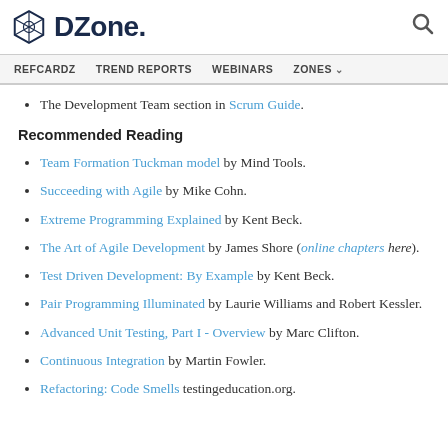DZone. [search icon]
REFCARDZ  TREND REPORTS  WEBINARS  ZONES
The Development Team section in Scrum Guide.
Recommended Reading
Team Formation Tuckman model by Mind Tools.
Succeeding with Agile by Mike Cohn.
Extreme Programming Explained by Kent Beck.
The Art of Agile Development by James Shore (online chapters here).
Test Driven Development: By Example by Kent Beck.
Pair Programming Illuminated by Laurie Williams and Robert Kessler.
Advanced Unit Testing, Part I - Overview by Marc Clifton.
Continuous Integration by Martin Fowler.
Refactoring: Code Smells testingeducation.org.